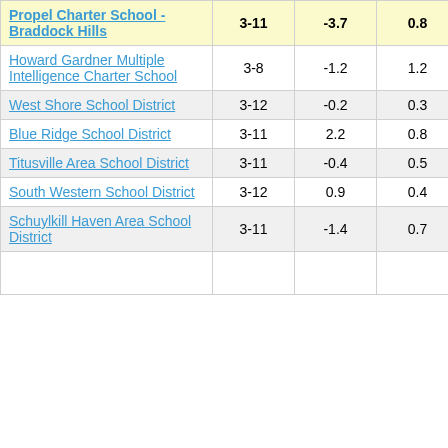| School/District | Grades | Col3 | Col4 | Score |
| --- | --- | --- | --- | --- |
| Propel Charter School - Braddock Hills | 3-11 | -3.7 | 0.8 | -4.64 |
| Howard Gardner Multiple Intelligence Charter School | 3-8 | -1.2 | 1.2 | -1.03 |
| West Shore School District | 3-12 | -0.2 | 0.3 | -0.59 |
| Blue Ridge School District | 3-11 | 2.2 | 0.8 | 2.90 |
| Titusville Area School District | 3-11 | -0.4 | 0.5 | -0.72 |
| South Western School District | 3-12 | 0.9 | 0.4 | 2.41 |
| Schuylkill Haven Area School District | 3-11 | -1.4 | 0.7 | -1.96 |